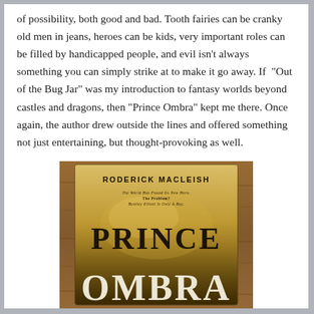of possibility, both good and bad. Tooth fairies can be cranky old men in jeans, heroes can be kids, very important roles can be filled by handicapped people, and evil isn't always something you can simply strike at to make it go away. If “Out of the Bug Jar” was my introduction to fantasy worlds beyond castles and dragons, then “Prince Ombra” kept me there. Once again, the author drew outside the lines and offered something not just entertaining, but thought-provoking as well.
[Figure (photo): Book cover of 'Prince Ombra' by Roderick MacLeish. The cover features the author name 'RODERICK MACLEISH' at the top, a tagline 'The World Has Found Its New Hero. The Problem? Bentley Elliott Is Only A Boy.' and large serif title text 'PRINCE OMBRA' on a dark golden/brown atmospheric background. The book is photographed on a wooden surface.]